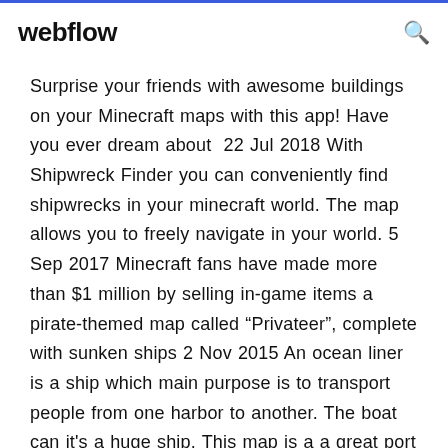webflow
Surprise your friends with awesome buildings on your Minecraft maps with this app! Have you ever dream about  22 Jul 2018 With Shipwreck Finder you can conveniently find shipwrecks in your minecraft world. The map allows you to freely navigate in your world. 5 Sep 2017 Minecraft fans have made more than $1 million by selling in-game items a pirate-themed map called “Privateer”, complete with sunken ships 2 Nov 2015 An ocean liner is a ship which main purpose is to transport people from one harbor to another. The boat can it's a huge ship. This map is a a great port from the PC version of Minecraft. queenmary4 queenmary3 queenmary2 queenmary1 download Ps, look up